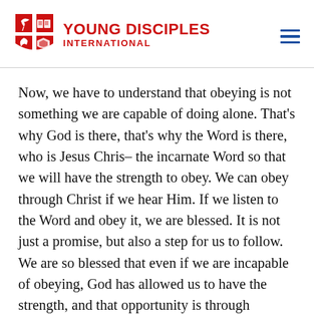YOUNG DISCIPLES INTERNATIONAL
Now, we have to understand that obeying is not something we are capable of doing alone. That’s why God is there, that’s why the Word is there, who is Jesus Chris– the incarnate Word so that we will have the strength to obey. We can obey through Christ if we hear Him. If we listen to the Word and obey it, we are blessed. It is not just a promise, but also a step for us to follow. We are so blessed that even if we are incapable of obeying, God has allowed us to have the strength, and that opportunity is through hearing the Word who is Christ our Lord. So, we have to know that obeying must be difficult, but we are able